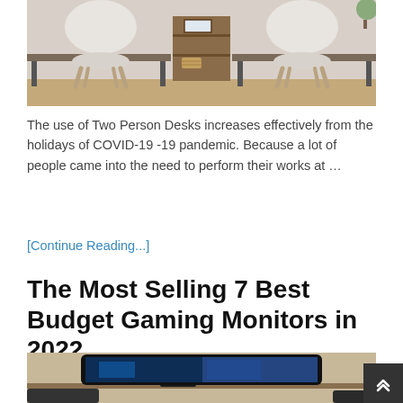[Figure (photo): Photo of a two-person desk setup with two white chairs on either side and a central wooden shelving unit with a small framed picture and basket]
The use of Two Person Desks increases effectively from the holidays of COVID-19 -19 pandemic. Because a lot of people came into the need to perform their works at …
[Continue Reading...]
The Most Selling 7 Best Budget Gaming Monitors in 2022
[Figure (photo): Photo of a gaming monitor setup showing a curved monitor displaying a game scene, partially visible]